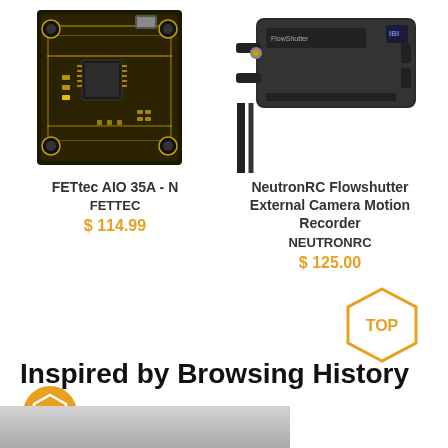[Figure (photo): PCB circuit board - FETtec AIO 35A flight controller, square black board with gold components]
[Figure (photo): NeutronRC Flowshutter External Camera Motion Recorder - black handheld electronic device]
FETtec AIO 35A - N
FETTEC
$ 114.99
NeutronRC Flowshutter External Camera Motion Recorder
NEUTRONRC
$ 125.00
[Figure (other): Hexagonal TOP badge in orange/gold outline]
Inspired by Browsing History
[Figure (other): Orange circular badge with dollar/coin icon]
[Figure (photo): Bottom partial product image strip, gray/silver color]